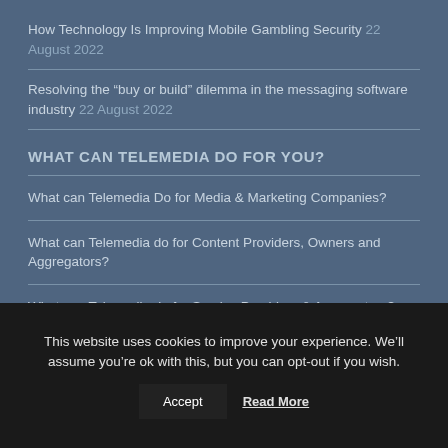How Technology Is Improving Mobile Gambling Security 22 August 2022
Resolving the “buy or build” dilemma in the messaging software industry 22 August 2022
WHAT CAN TELEMEDIA DO FOR YOU?
What can Telemedia Do for Media & Marketing Companies?
What can Telemedia do for Content Providers, Owners and Aggregators?
What can Telemedia do for Service Providers & Aggregators?
This website uses cookies to improve your experience. We’ll assume you’re ok with this, but you can opt-out if you wish.
Accept   Read More